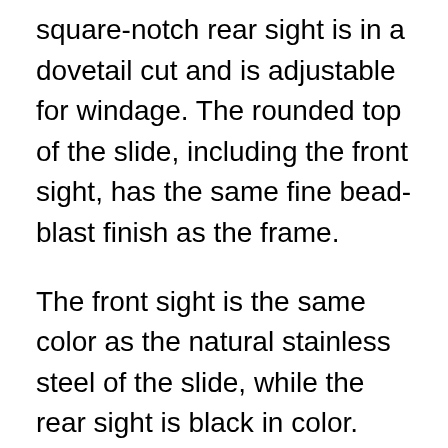square-notch rear sight is in a dovetail cut and is adjustable for windage. The rounded top of the slide, including the front sight, has the same fine bead-blast finish as the frame.
The front sight is the same color as the natural stainless steel of the slide, while the rear sight is black in color. The vertical sides of the slide are highly polished. Ten vertical grasping grooves on either side are rearward of the ejection port. The port's rounded rectangular opening begins at the right top of the slide and extends down past midline; it's sufficiently ample that empty cases or live rounds exited